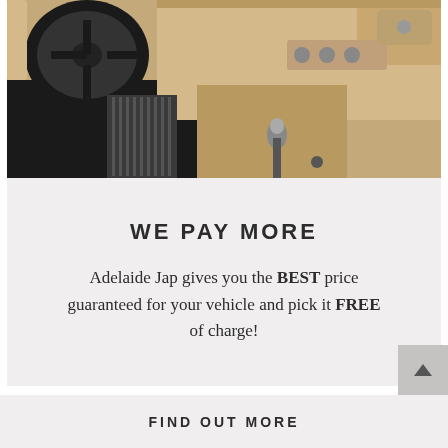[Figure (photo): Car interior photo showing steering wheel, center console with gear shift, beige/cream dashboard and seats]
WE PAY MORE
Adelaide Jap gives you the BEST price guaranteed for your vehicle and pick it FREE of charge!
FIND OUT MORE